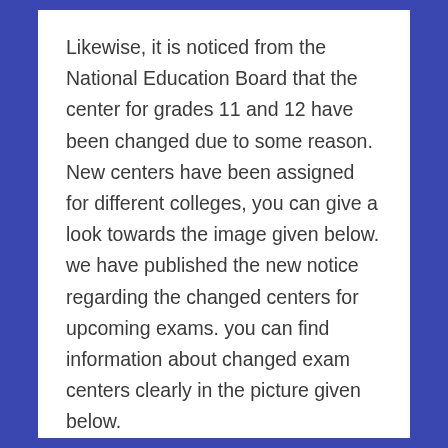Likewise, it is noticed from the National Education Board that the center for grades 11 and 12 have been changed due to some reason. New centers have been assigned for different colleges, you can give a look towards the image given below. we have published the new notice regarding the changed centers for upcoming exams. you can find information about changed exam centers clearly in the picture given below.